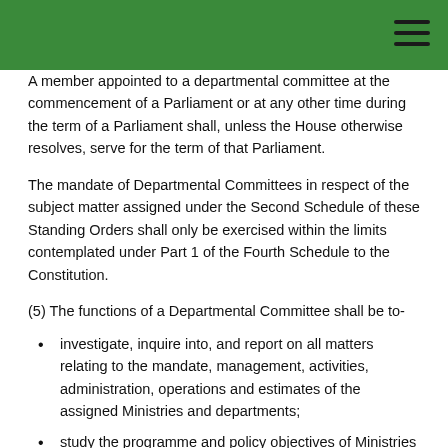A member appointed to a departmental committee at the commencement of a Parliament or at any other time during the term of a Parliament shall, unless the House otherwise resolves, serve for the term of that Parliament.
The mandate of Departmental Committees in respect of the subject matter assigned under the Second Schedule of these Standing Orders shall only be exercised within the limits contemplated under Part 1 of the Fourth Schedule to the Constitution.
(5) The functions of a Departmental Committee shall be to-
investigate, inquire into, and report on all matters relating to the mandate, management, activities, administration, operations and estimates of the assigned Ministries and departments;
study the programme and policy objectives of Ministries and departments and the effectiveness of the implementation;
study and review all legislation referred to it;
study, assess and analyze the relative success of the Ministries and departments as measured by the set objectives in their respective strategic plans and the extent to which they promote the national values and principles;